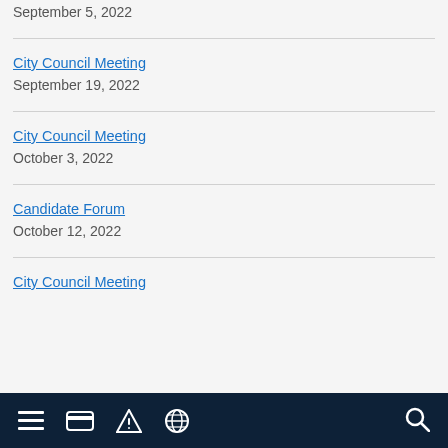September 5, 2022
City Council Meeting
September 19, 2022
City Council Meeting
October 3, 2022
Candidate Forum
October 12, 2022
City Council Meeting
Navigation bar with menu, card, alert, globe, and search icons